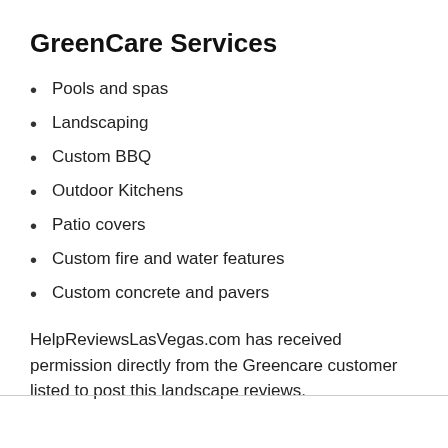GreenCare Services
Pools and spas
Landscaping
Custom BBQ
Outdoor Kitchens
Patio covers
Custom fire and water features
Custom concrete and pavers
HelpReviewsLasVegas.com has received permission directly from the Greencare customer listed to post this landscape reviews.